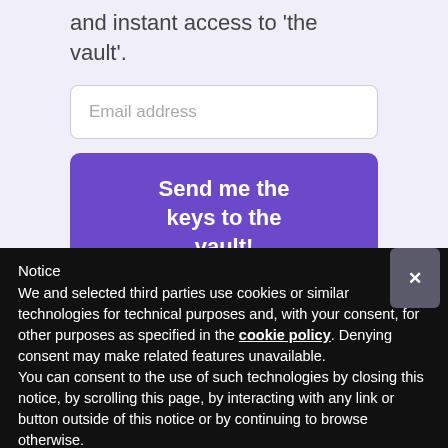and instant access to 'the vault'.
Email address
Send me the keys to the vault!
Notice
We and selected third parties use cookies or similar technologies for technical purposes and, with your consent, for other purposes as specified in the cookie policy. Denying consent may make related features unavailable.
You can consent to the use of such technologies by closing this notice, by scrolling this page, by interacting with any link or button outside of this notice or by continuing to browse otherwise.